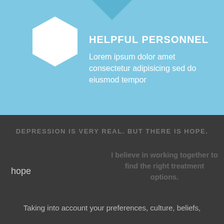[Figure (infographic): Light blue top section with downward-pointing arrow at top center, white hexagon shape on left containing a broken icon placeholder]
HELPFUL PERSONNEL
Lorem ipsum dolor amet consectetur adipisicing sed do eiusmod tempor
DEPRESSION IS VERY REAL. BUT THERE IS HOPE.
[Figure (photo): Broken image placeholder labeled 'hope' on dark background]
I believe in working together to find the right treatment options.
Taking into account your preferences, culture, beliefs,